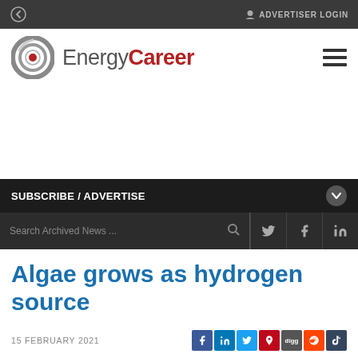ADVERTISER LOGIN
[Figure (logo): EnergyCareer logo with circular target icon and hamburger menu]
SUBSCRIBE / ADVERTISE
Search Archived News ...
Algae grows as hydrogen source
15 FEBRUARY 2021